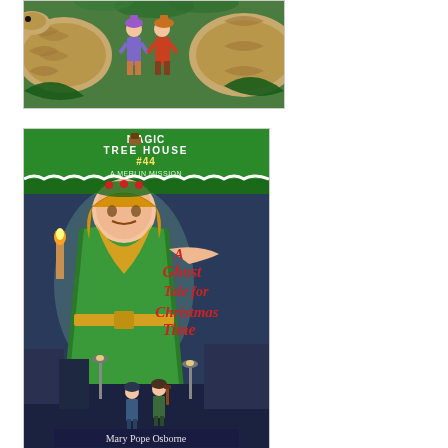[Figure (illustration): Book cover showing two children in colorful outfits standing between large snakes in a jungle/forest setting. Green foliage background with brown snake scales visible on both sides.]
[Figure (illustration): Magic Tree House #44 - A Merlin Mission book cover: 'A Ghost Tale for Christmas Time' by Mary Pope Osborne. Features a large green-robed ghostly figure with a torch/candle, holly wreath on head, and two small children on a dark street. Green banner at top reads 'MAGIC TREE HOUSE #44 A MERLIN MISSION'.]